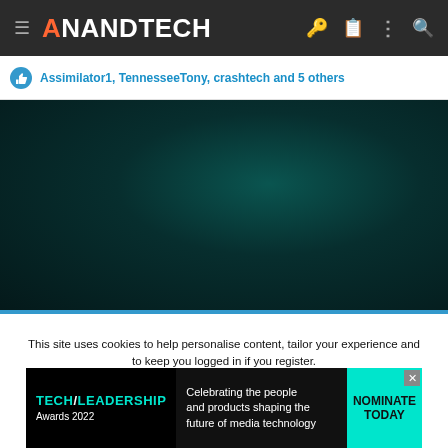AnandTech
Assimilator1, TennesseeTony, crashtech and 5 others
[Figure (photo): Dark teal/green gradient background image area]
This site uses cookies to help personalise content, tailor your experience and to keep you logged in if you register. By continuing to use this site, you are consenting to our use of cookies.
[Figure (infographic): Tech Leadership Awards 2022 advertisement banner: Celebrating the people and products shaping the future of media technology. NOMINATE TODAY.]